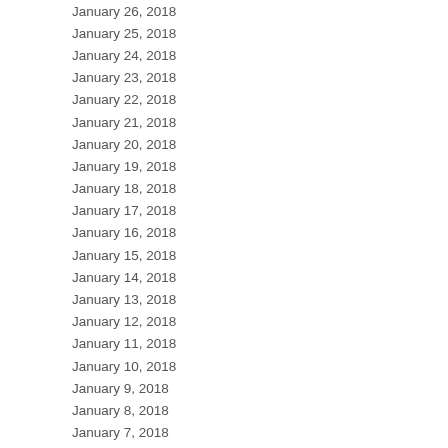| Date | Count |
| --- | --- |
| January 26, 2018 | 13 |
| January 25, 2018 | 6 |
| January 24, 2018 | 18 |
| January 23, 2018 | 11 |
| January 22, 2018 | 10 |
| January 21, 2018 | 17 |
| January 20, 2018 | 3 |
| January 19, 2018 | 9 |
| January 18, 2018 | 8 |
| January 17, 2018 | 4 |
| January 16, 2018 | 6 |
| January 15, 2018 | 9 |
| January 14, 2018 | 12 |
| January 13, 2018 | 10 |
| January 12, 2018 | 10 |
| January 11, 2018 | 5 |
| January 10, 2018 | 11 |
| January 9, 2018 | 7 |
| January 8, 2018 | 2 |
| January 7, 2018 | 7 |
| January 6, 2018 | 5 |
| January 5, 2018 | 4 |
| January 4, 2018 | 7 |
| January 3, 2018 | 5 |